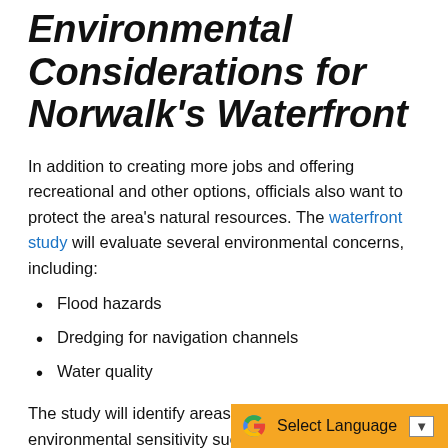Environmental Considerations for Norwalk's Waterfront
In addition to creating more jobs and offering recreational and other options, officials also want to protect the area's natural resources. The waterfront study will evaluate several environmental concerns, including:
Flood hazards
Dredging for navigation channels
Water quality
The study will identify areas of high risk or high environmental sensitivity such as low lying areas that may be prone to flooding or areas that receive run-off from their land side coun...belts, and the like, so that...